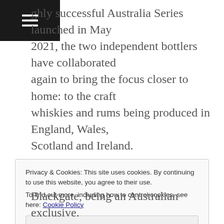[hamburger menu icon]
...to release their Home Nations Series. Following a highly successful Australia Series launched in May 2021, the two independent bottlers have collaborated again to bring the focus closer to home: to the craft whiskies and rums being produced in England, Wales, Scotland and Ireland.
After switching to quarterly releases in August 2020, TBWC has seen a strong response to their themed series which have included World Whiskies and Rye Whiskies, with many lines selling out in their first few weeks of release. TBWC collaborated for the first time
Privacy & Cookies: This site uses cookies. By continuing to use this website, you agree to their use.
To find out more, including how to control cookies, see here: Cookie Policy
Close and accept
Blackgate, being an Australian exclusive.